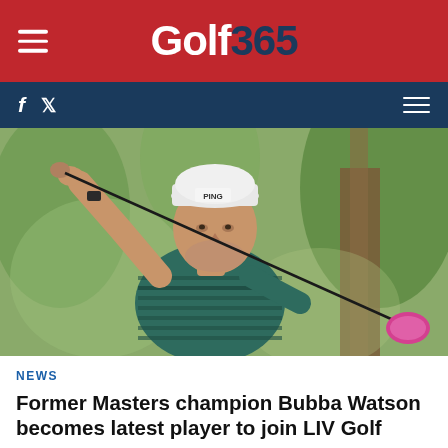Golf365
[Figure (photo): Golfer Bubba Watson mid-swing wearing a striped teal polo shirt and PING cap, holding a driver with a pink club head, photographed outdoors with trees in background]
NEWS
Former Masters champion Bubba Watson becomes latest player to join LIV Golf